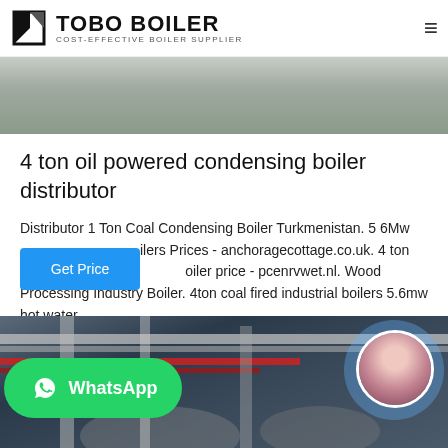TOBO BOILER — COST-EFFECTIVE BOILER SUPPLIER
[Figure (photo): Top strip photo of industrial boiler/facility interior with grey tones]
4 ton oil powered condensing boiler distributor
Distributor 1 Ton Coal Condensing Boiler Turkmenistan. 5 6Mw boilers Prices - anchoragecottage.co.uk. 4 ton mobile boiler price - pcenrvwet.nl. Wood Processing Industry Boiler. 4ton coal fired industrial boilers 5.6mw hot water...
[Figure (photo): Industrial boiler room interior with silver pipes, red pipes overhead, and large cylindrical boiler tanks. WhatsApp button overlay in green. Circular avatar of woman in bottom right area.]